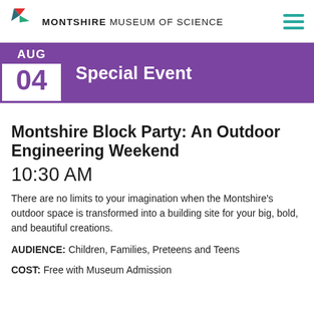MONTSHIRE MUSEUM OF SCIENCE
[Figure (infographic): Calendar icon showing AUG 04 in purple with event type label 'Special Event' on purple bar]
Montshire Block Party: An Outdoor Engineering Weekend
10:30 AM
There are no limits to your imagination when the Montshire's outdoor space is transformed into a building site for your big, bold, and beautiful creations.
AUDIENCE: Children, Families, Preteens and Teens
COST: Free with Museum Admission